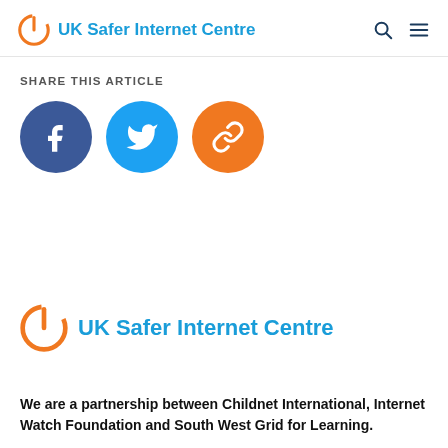UK Safer Internet Centre
SHARE THIS ARTICLE
[Figure (infographic): Three circular social share buttons: Facebook (dark blue with f icon), Twitter (light blue with bird icon), Link/copy (orange with chain link icon)]
[Figure (logo): UK Safer Internet Centre logo — orange power-button circle icon with blue text]
We are a partnership between Childnet International, Internet Watch Foundation and South West Grid for Learning.